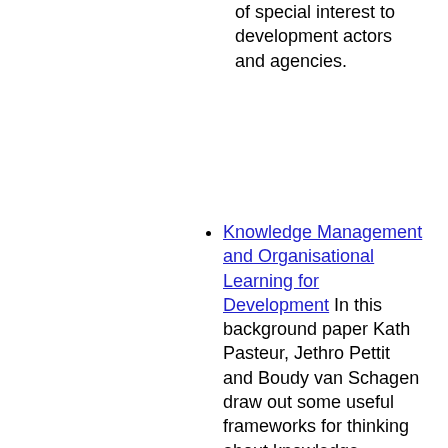of special interest to development actors and agencies.
Knowledge Management and Organisational Learning for Development In this background paper Kath Pasteur, Jethro Pettit and Boudy van Schagen draw out some useful frameworks for thinking about knowledge management